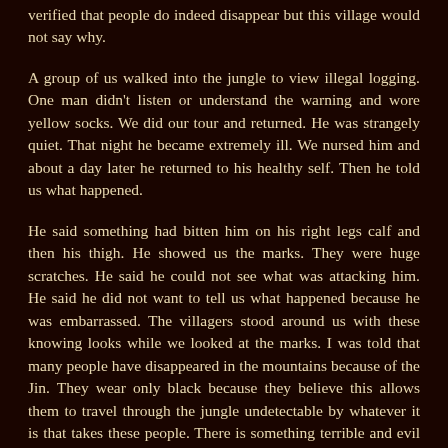verified that people do indeed disappear but this village would not say why.
A group of us walked into the jungle to view illegal logging. One man didn't listen or understand the warning and wore yellow socks. We did our tour and returned. He was strangely quiet. That night he became extremely ill. We nursed him and about a day later he returned to his healthy self. Then he told us what happened.
He said something had bitten him on his right legs calf and then his thigh. He showed us the marks. They were huge scratches. He said he could not see what was attacking him. He said he did not want to tell us what happened because he was embarrassed. The villagers stood around us with these knowing looks while we looked at the marks. I was told that many people have disappeared in the mountains because of the Jin. They wear only black because they believe this allows them to travel through the jungle undetectable by whatever it is that takes these people. There is something terrible and evil taking these people. The people of Sulawesi have